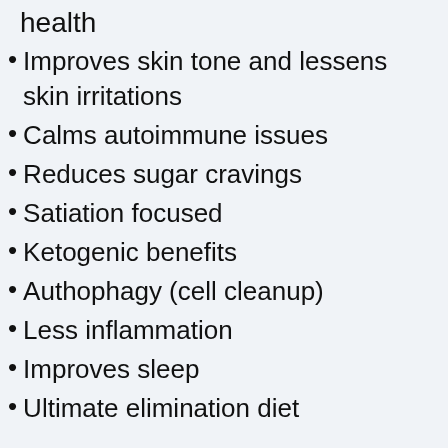health
Improves skin tone and lessens skin irritations
Calms autoimmune issues
Reduces sugar cravings
Satiation focused
Ketogenic benefits
Authophagy (cell cleanup)
Less inflammation
Improves sleep
Ultimate elimination diet